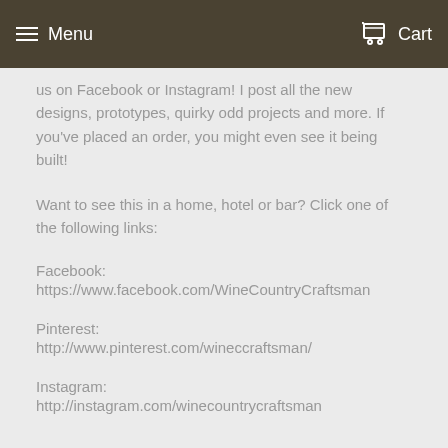Menu  Cart
us on Facebook or Instagram! I post all the new designs, prototypes, quirky odd projects and more. If you've placed an order, you might even see it being built!
Want to see this in a home, hotel or bar? Click one of the following links:
Facebook:
https://www.facebook.com/WineCountryCraftsman
Pinterest:
http://www.pinterest.com/wineccraftsman/
Instagram:
http://instagram.com/winecountrycraftsman